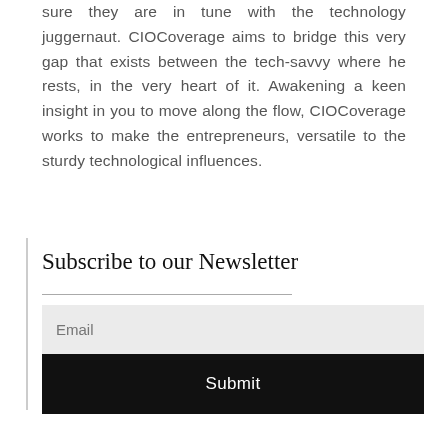sure they are in tune with the technology juggernaut. CIOCoverage aims to bridge this very gap that exists between the tech-savvy where he rests, in the very heart of it. Awakening a keen insight in you to move along the flow, CIOCoverage works to make the entrepreneurs, versatile to the sturdy technological influences.
Subscribe to our Newsletter
Email
Submit